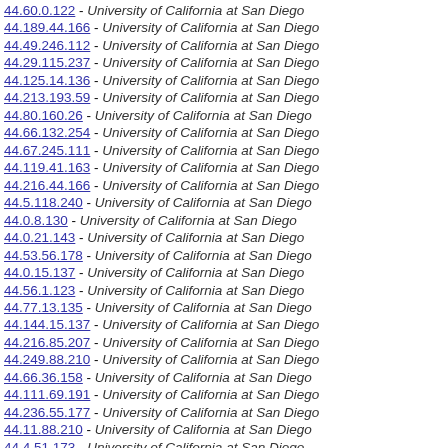44.60.0.122 - University of California at San Diego
44.189.44.166 - University of California at San Diego
44.49.246.112 - University of California at San Diego
44.29.115.237 - University of California at San Diego
44.125.14.136 - University of California at San Diego
44.213.193.59 - University of California at San Diego
44.80.160.26 - University of California at San Diego
44.66.132.254 - University of California at San Diego
44.67.245.111 - University of California at San Diego
44.119.41.163 - University of California at San Diego
44.216.44.166 - University of California at San Diego
44.5.118.240 - University of California at San Diego
44.0.8.130 - University of California at San Diego
44.0.21.143 - University of California at San Diego
44.53.56.178 - University of California at San Diego
44.0.15.137 - University of California at San Diego
44.56.1.123 - University of California at San Diego
44.77.13.135 - University of California at San Diego
44.144.15.137 - University of California at San Diego
44.216.85.207 - University of California at San Diego
44.249.88.210 - University of California at San Diego
44.66.36.158 - University of California at San Diego
44.111.69.191 - University of California at San Diego
44.236.55.177 - University of California at San Diego
44.11.88.210 - University of California at San Diego
44.4.51.173 - University of California at San Diego
44.32.96.218 - University of California at San Diego
44.197.39.161 - University of California at San Diego
44.166.186.52 - University of California at San Diego
44.227.211.77 - University of California at San Diego